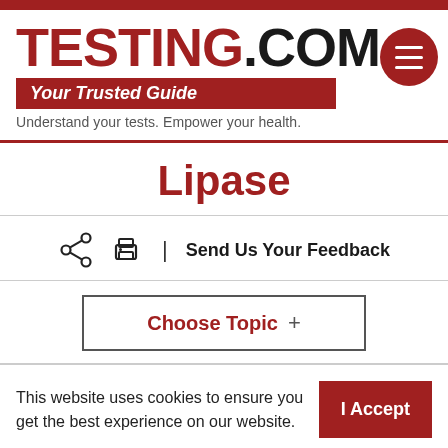TESTING.COM — Your Trusted Guide — Understand your tests. Empower your health.
Lipase
Send Us Your Feedback
Choose Topic +
This website uses cookies to ensure you get the best experience on our website.